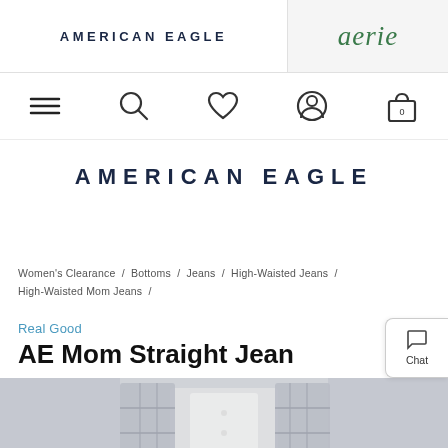AMERICAN EAGLE
aerie
[Figure (screenshot): Navigation icons: hamburger menu, search, wishlist heart, account, shopping bag with 0]
AMERICAN EAGLE
Women's Clearance / Bottoms / Jeans / High-Waisted Jeans / High-Waisted Mom Jeans /
Real Good
AE Mom Straight Jean
[Figure (photo): Model wearing AE Mom Straight Jean with a plaid flannel shirt open over a white top, cropped at torso level]